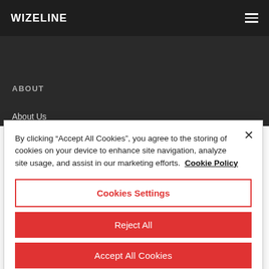WIZELINE
ABOUT
About Us
By clicking “Accept All Cookies”, you agree to the storing of cookies on your device to enhance site navigation, analyze site usage, and assist in our marketing efforts. Cookie Policy
Cookies Settings
Reject All
Accept All Cookies